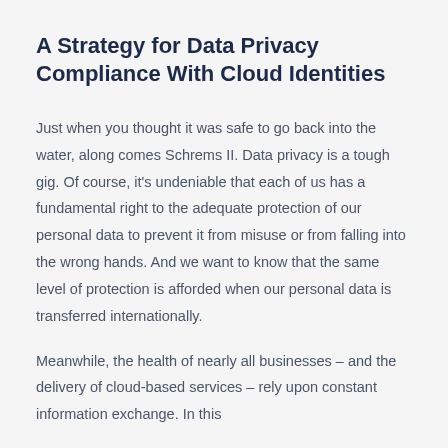A Strategy for Data Privacy Compliance With Cloud Identities
Just when you thought it was safe to go back into the water, along comes Schrems II. Data privacy is a tough gig. Of course, it's undeniable that each of us has a fundamental right to the adequate protection of our personal data to prevent it from misuse or from falling into the wrong hands. And we want to know that the same level of protection is afforded when our personal data is transferred internationally.
Meanwhile, the health of nearly all businesses – and the delivery of cloud-based services – rely upon constant information exchange. In this